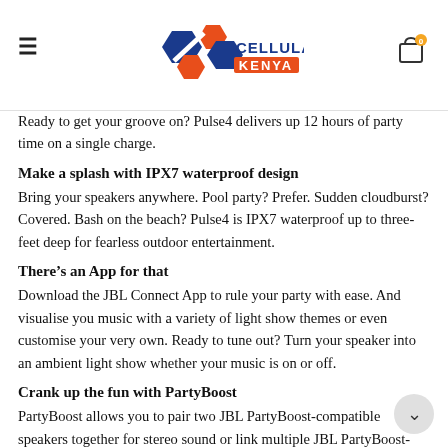Cellular Kenya (logo)
Ready to get your groove on? Pulse4 delivers up 12 hours of party time on a single charge.
Make a splash with IPX7 waterproof design
Bring your speakers anywhere. Pool party? Prefer. Sudden cloudburst? Covered. Bash on the beach? Pulse4 is IPX7 waterproof up to three-feet deep for fearless outdoor entertainment.
There’s an App for that
Download the JBL Connect App to rule your party with ease. And visualise you music with a variety of light show themes or even customise your very own. Ready to tune out? Turn your speaker into an ambient light show whether your music is on or off.
Crank up the fun with PartyBoost
PartyBoost allows you to pair two JBL PartyBoost-compatible speakers together for stereo sound or link multiple JBL PartyBoost-compatible speakers to truly pump up your party.